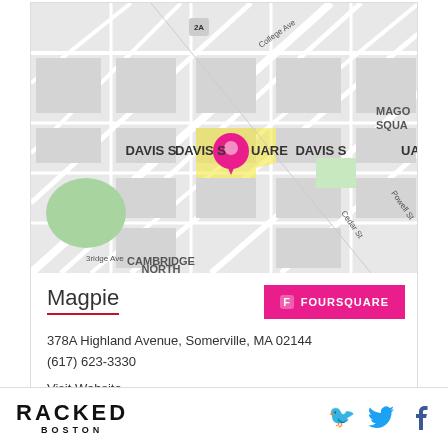[Figure (map): Street map showing Davis Square area in Somerville/Cambridge MA with a pink/magenta location pin marker. Labels include Davis Square, North Cambridge, Magog Square (partial), and street names including College Ave, Cedar St, Powell St, Bridge Ave.]
Magpie
378A Highland Avenue, Somerville, MA 02144
(617) 623-3330
Visit Website
RACKED BOSTON